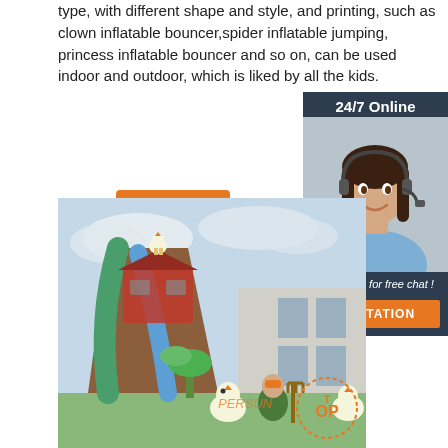type, with different shape and style, and printing, such as clown inflatable bouncer,spider inflatable jumping, princess inflatable bouncer and so on, can be used indoor and outdoor, which is liked by all the kids.
[Figure (other): Orange 'Get Price' button on the left]
[Figure (other): Dark navy chat widget on the right showing '24/7 Online' header, a female customer service agent with headset, 'Click here for free chat!' text, and an orange QUOTATION button]
[Figure (photo): Outdoor inflatable bouncer/slide with farm theme showing a large inflatable slide structure with colorful cartoon farm characters (chickens, a farmer, crops) at the base, set against a cloudy sky with a building visible in background. A 'TOP' badge with dotted circle appears in the bottom right corner.]